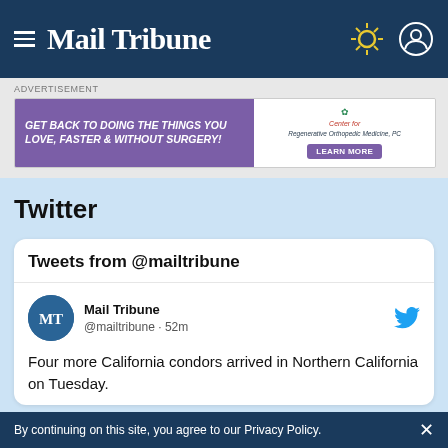Mail Tribune
[Figure (screenshot): Advertisement banner: GET BACK TO DOING THE THINGS YOU LOVE, FASTER & WITHOUT SURGERY! - Center for Regenerative Orthopedic Medicine, PC - LEARN MORE]
Twitter
Tweets from @mailtribune
Mail Tribune @mailtribune · 52m
Four more California condors arrived in Northern California on Tuesday.
By continuing on this site, you agree to our Privacy Policy.